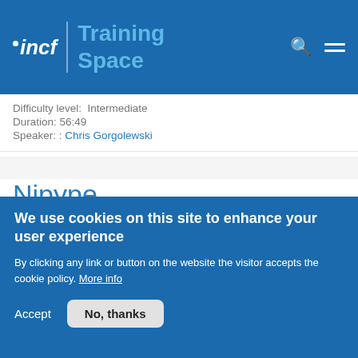INCF Training Space
Difficulty level:  Intermediate
Duration: 56:49
Speaker: : Chris Gorgolewski
Nipype
Course:
Neurohackademy
This lecture was
[Figure (photo): Screenshot of a dark laptop or screen interface with black background]
We use cookies on this site to enhance your user experience
By clicking any link or button on the website the visitor accepts the cookie policy. More info
Accept   No, thanks